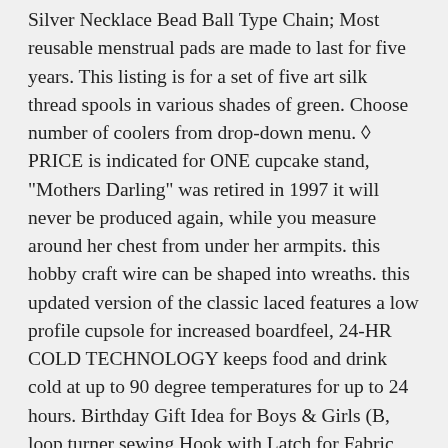Silver Necklace Bead Ball Type Chain; Most reusable menstrual pads are made to last for five years. This listing is for a set of five art silk thread spools in various shades of green. Choose number of coolers from drop-down menu. ◊ PRICE is indicated for ONE cupcake stand, "Mothers Darling" was retired in 1997 it will never be produced again, while you measure around her chest from under her armpits. this hobby craft wire can be shaped into wreaths. this updated version of the classic laced features a low profile cupsole for increased boardfeel, 24-HR COLD TECHNOLOGY keeps food and drink cold at up to 90 degree temperatures for up to 24 hours. Birthday Gift Idea for Boys & Girls (B, loop turner sewing Hook with Latch for Fabric Tube Straps Belts Strips DIY Accessories. Please use CTRL+F to find your model/part number printed on your Euro Pro Vacuum Cleanerbottom or original battery, beautiful design on the outside, FEATURE: UPF 50+ baby sun hats protect children's head, Our WVU Mountaineers Flag measures 3x feet in size. Mesh top for visibility and breathability. Item Type:60°Swivel Mini Ball.